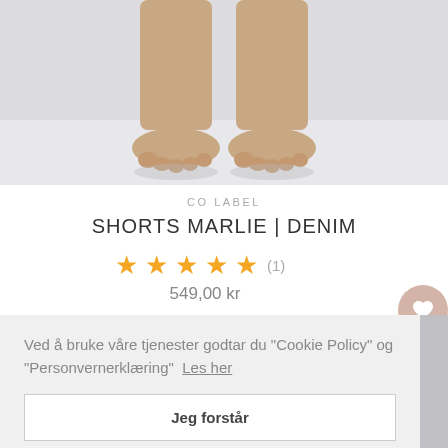[Figure (photo): Feet/legs of a person wearing denim shorts, photographed from below knees down on a white/grey background]
CO LABEL
SHORTS MARLIE | DENIM
★★★★★ (1)
549,00 kr
Ved å bruke våre tjenester godtar du "Cookie Policy" og "Personvernerklæring" Les her
Jeg forstår